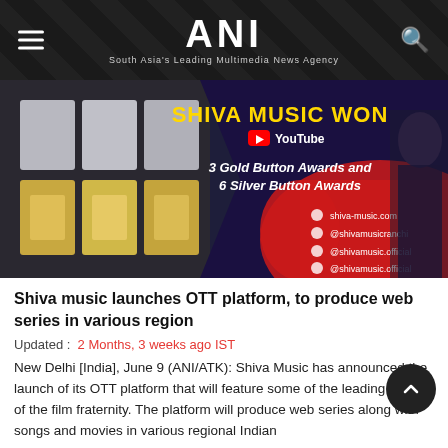ANI — South Asia's Leading Multimedia News Agency
[Figure (photo): Shiva Music promotional banner showing YouTube Gold and Silver Button Awards, with text 'SHIVA MUSIC WON 3 Gold Button Awards and 6 Silver Button Awards' and social media handles]
Shiva music launches OTT platform, to produce web series in various region
Updated : 2 Months, 3 weeks ago IST
New Delhi [India], June 9 (ANI/ATK): Shiva Music has announced the launch of its OTT platform that will feature some of the leading artists of the film fraternity. The platform will produce web series along with songs and movies in various regional Indian